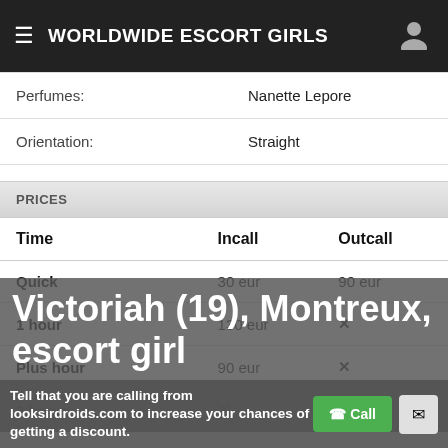WORLDWIDE ESCORT GIRLS
|  |  |
| --- | --- |
| Perfumes: | Nanette Lepore |
| Orientation: | Straight |
PRICES
| Time | Incall | Outcall |
| --- | --- | --- |
| Quick | 30 eur | 90 eur |
| 1 hour | 130 eur | ✕ |
| Plus hour | 90 eur | ✕ |
| 2 hours | ✕ | ✕ |
Victoriah (19), Montreux, escort girl
Tell that you are calling from looksirdroids.com to increase your chances of getting a discount.